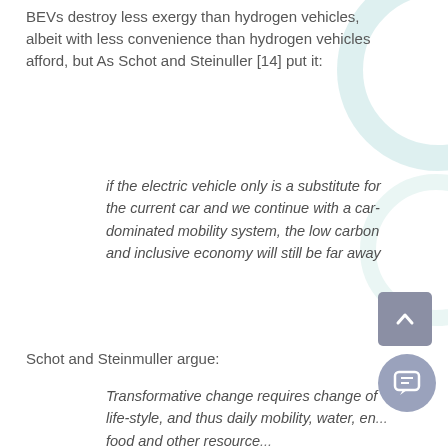BEVs destroy less exergy than hydrogen vehicles, albeit with less convenience than hydrogen vehicles afford, but As Schot and Steinuller [14] put it:
if the electric vehicle only is a substitute for the current car and we continue with a car-dominated mobility system, the low carbon and inclusive economy will still be far away
Schot and Steinmuller argue:
Transformative change requires change of life-style, and thus daily mobility, water, en... food and other resource... practices, not only of